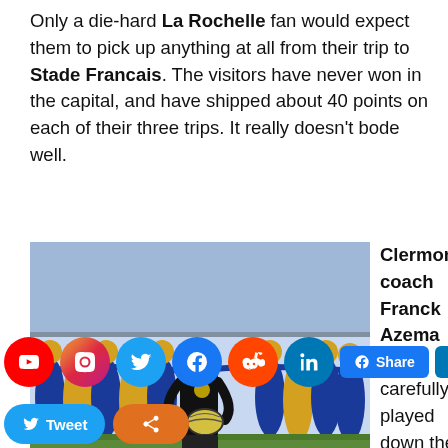Only a die-hard La Rochelle fan would expect them to pick up anything at all from their trip to Stade Francais. The visitors have never won in the capital, and have shipped about 40 points on each of their three trips. It really doesn't bode well.
[Figure (photo): A man in a black coaching outfit holding a rugby ball, standing in front of a group of rugby players in yellow and blue jerseys huddled together on a pitch.]
Franck Azema has warned Clermont fans not to underestimate Top 14 opponents Oyonnax
Clermont coach Franck Azema has carefully played down the Top 14 leaders chances against Oyonnax at Stade
Charles Mathon this weekend. He told the club's website that